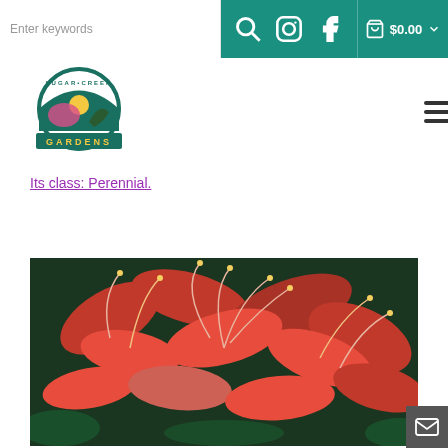Sugar Creek Gardens website header with search bar, social icons, cart ($0.00), logo, and hamburger menu
Its class: Perennial.
[Figure (photo): Close-up photograph of bright red spider lily (Lycoris radiata) flowers with long curved stamens against dark green foliage background]